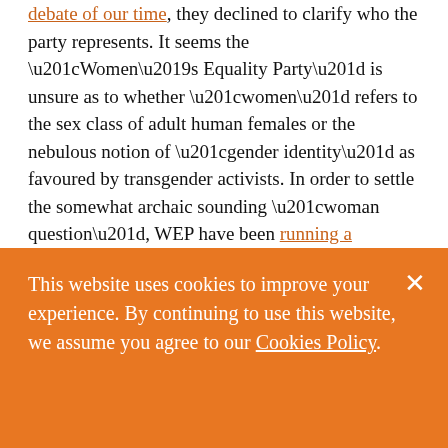debate of our time, they declined to clarify who the party represents. It seems the “Women’s Equality Party” is unsure as to whether “women” refers to the sex class of adult human females or the nebulous notion of “gender identity” as favoured by transgender activists. In order to settle the somewhat archaic sounding “woman question”, WEP have been running a consultation, as their spokeswoman told me:
This website uses cookies to improve your experience. By continuing to use this website, we assume you agree to our Cookies Policy.